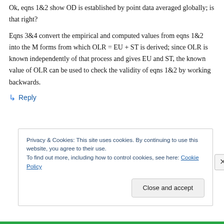Ok, eqns 1&2 show OD is established by point data averaged globally; is that right?
Eqns 3&4 convert the empirical and computed values from eqns 1&2 into the M forms from which OLR = EU + ST is derived; since OLR is known independently of that process and gives EU and ST, the known value of OLR can be used to check the validity of eqns 1&2 by working backwards.
↳ Reply
Privacy & Cookies: This site uses cookies. By continuing to use this website, you agree to their use.
To find out more, including how to control cookies, see here: Cookie Policy